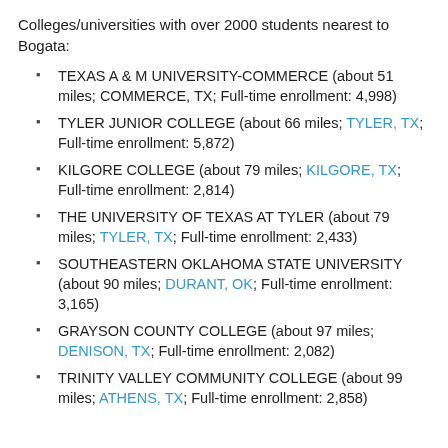Colleges/universities with over 2000 students nearest to Bogata:
TEXAS A & M UNIVERSITY-COMMERCE (about 51 miles; COMMERCE, TX; Full-time enrollment: 4,998)
TYLER JUNIOR COLLEGE (about 66 miles; TYLER, TX; Full-time enrollment: 5,872)
KILGORE COLLEGE (about 79 miles; KILGORE, TX; Full-time enrollment: 2,814)
THE UNIVERSITY OF TEXAS AT TYLER (about 79 miles; TYLER, TX; Full-time enrollment: 2,433)
SOUTHEASTERN OKLAHOMA STATE UNIVERSITY (about 90 miles; DURANT, OK; Full-time enrollment: 3,165)
GRAYSON COUNTY COLLEGE (about 97 miles; DENISON, TX; Full-time enrollment: 2,082)
TRINITY VALLEY COMMUNITY COLLEGE (about 99 miles; ATHENS, TX; Full-time enrollment: 2,858)